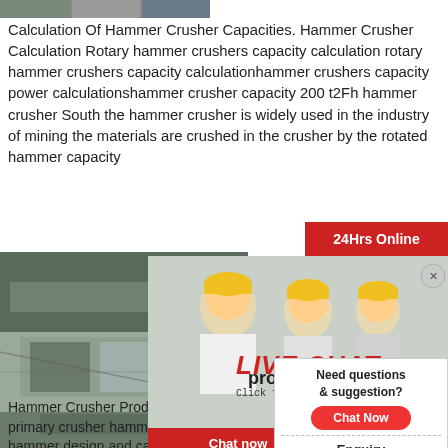[Figure (photo): Top strip image of industrial/mining machinery or workers]
Calculation Of Hammer Crusher Capacities. Hammer Crusher Calculation Rotary hammer crushers capacity calculation rotary hammer crushers capacity calculationhammer crushers capacity power calculationshammer crusher capacity 200 t2Fh hammer crusher South the hammer crusher is widely used in the industry of mining the materials are crushed in the crusher by the rotated hammer capacity
[Figure (photo): Industrial mining machinery / conveyor belt equipment]
[Figure (photo): Live Chat popup with workers in hard hats and consultation button. Text: LIVE CHAT, Click for a Free Consultation, Chat now, Chat later]
[Figure (photo): Customer service agent with headset on right side]
24Hrs Online
production c
Hammer Crusher Production Capacity Calculation. Capacity and energy primary crusher hammer design calculation of hammer knowledge of the hammer design and calculation crusher when impact crusher worksthe materials a impact energy produced in the crusher when the
Need questions & suggestion?
Chat Now
Enquiry
limingjlmofen